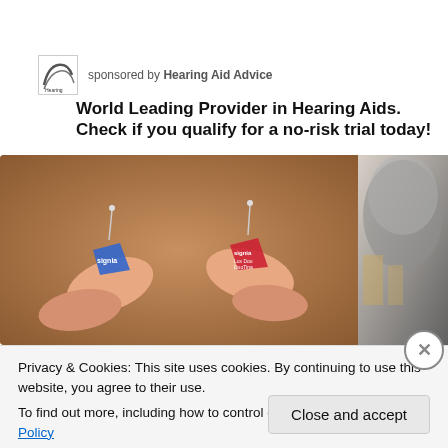sponsored by Hearing Aid Advice
World Leading Provider in Hearing Aids. Check if you qualify for a no-risk trial today!
[Figure (photo): Two small hearing aids (one blue, one red with 'signia' branding) held between fingers, shown close-up. Partial image of a person's ear visible on the right side.]
Privacy & Cookies: This site uses cookies. By continuing to use this website, you agree to their use.
To find out more, including how to control cookies, see here: Cookie Policy